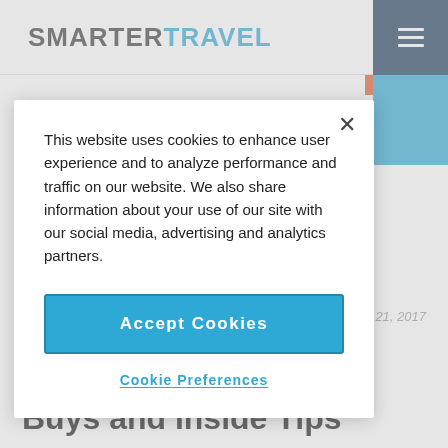SMARTERTRAVEL
This website uses cookies to enhance user experience and to analyze performance and traffic on our website. We also share information about your use of our site with our social media, advertising and analytics partners.
Accept Cookies
Cookie Preferences
CITIES
Feb 21, 2017
Sliema Shopping – Shops, Stores, Best Buys and Inside Tips